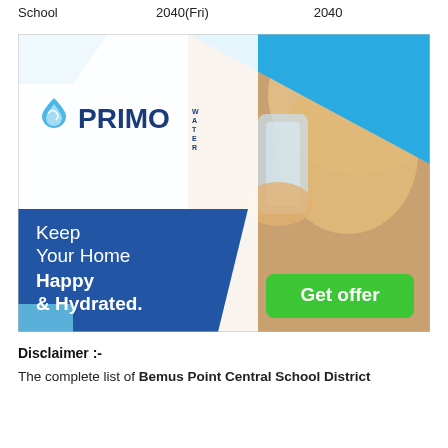|  |  |  |
| --- | --- | --- |
| School | 2040(Fri) | 2040 |
[Figure (infographic): Primo Water advertisement showing a woman drinking water. Blue and white design with Primo Water logo, text reading 'Keep Your Home Happy & Hydrated.' and a green 'Get offer' button.]
Disclaimer :-
The complete list of Bemus Point Central School District